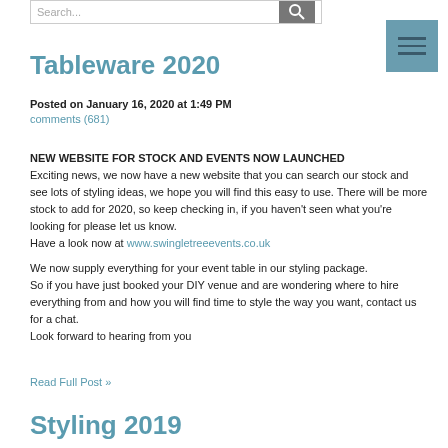Search...
Tableware 2020
Posted on January 16, 2020 at 1:49 PM
comments (681)
NEW WEBSITE FOR STOCK AND EVENTS NOW LAUNCHED
Exciting news, we now have a new website that you can search our stock and see lots of styling ideas, we hope you will find this easy to use.  There will be more stock to add for 2020, so keep checking in, if you haven't seen what you're looking for please let us know.
Have a look now at www.swingletreeevents.co.uk

We now supply everything for your event table in our styling package.
So if you have just booked your DIY venue and are wondering where to hire everything from and how you will find time to style the way you want, contact us for a chat.
Look forward to hearing from you
Read Full Post »
Styling 2019